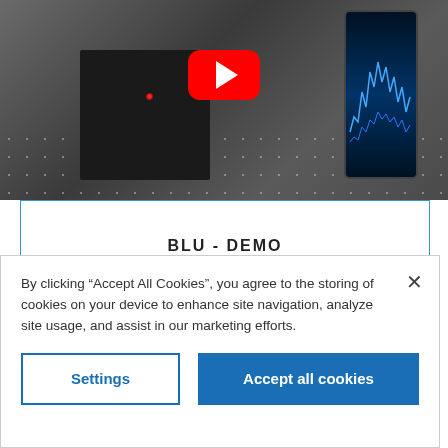[Figure (screenshot): YouTube video thumbnail showing a laser/acoustic measurement experiment on an optical table with a dark acoustic foam block, a red laser dot, and a smartphone/device displaying waveform data on the right. A YouTube play button (red with white triangle) is centered on the image.]
BLU - DEMO
INTEGRA (2ND GENERATION) - INTRODUCTION
By clicking “Accept All Cookies”, you agree to the storing of cookies on your device to enhance site navigation, analyze site usage, and assist in our marketing efforts.
Settings
Accept all cookies